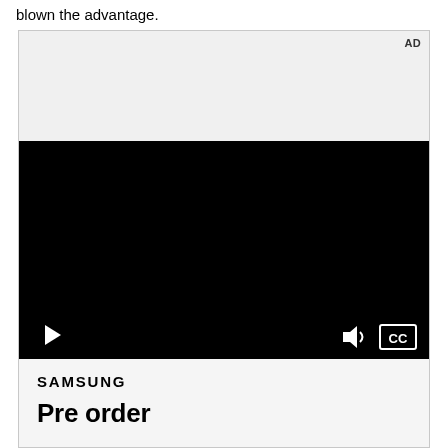blown the advantage.
[Figure (screenshot): Advertisement unit with gray header area labeled AD, a black video player with play button, volume and CC controls, and a Samsung pre-order ad panel below showing SAMSUNG logo and 'Pre order' text in bold.]